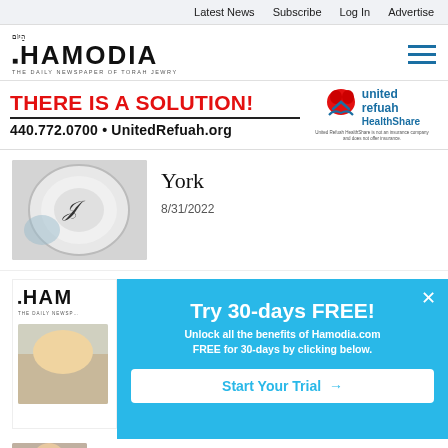Latest News   Subscribe   Log In   Advertise
[Figure (logo): Hamodia newspaper logo with Hebrew text and tagline THE DAILY NEWSPAPER OF TORAH JEWRY]
[Figure (infographic): United Refuah HealthShare advertisement banner: THERE IS A SOLUTION! 440.772.0700 • UnitedRefuah.org with red and blue United Refuah HealthShare logo]
[Figure (photo): Close-up photo of a white plate with black ink drawing on rim]
York
8/31/2022
[Figure (logo): Hamodia logo partially visible behind popup]
Try 30-days FREE!
Unlock all the benefits of Hamodia.com FREE for 30-days by clicking below.
Start Your Trial →
[Figure (photo): Partially visible photo at bottom of page]